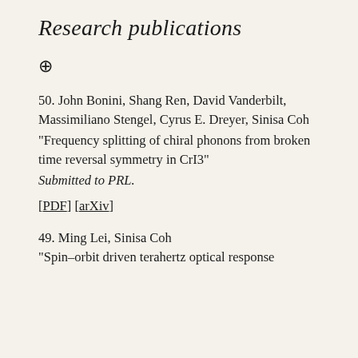Research publications
⊕
50. John Bonini, Shang Ren, David Vanderbilt, Massimiliano Stengel, Cyrus E. Dreyer, Sinisa Coh
"Frequency splitting of chiral phonons from broken time reversal symmetry in CrI3"
Submitted to PRL.
[PDF] [arXiv]
49. Ming Lei, Sinisa Coh
"Spin-orbit driven terahertz optical response